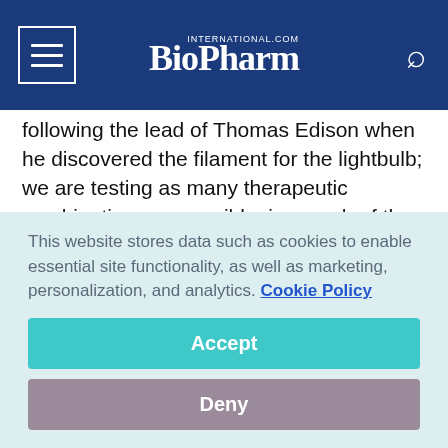BioPharm International
following the lead of Thomas Edison when he discovered the filament for the lightbulb; we are testing as many therapeutic combinations as possible, in search of the most efficient and effective cure. Enhancing the natural production of interferon combined with our previous work can be seen as a possible advancement toward a cure."
Source: FibroGenesis
This website stores data such as cookies to enable essential site functionality, as well as marketing, personalization, and analytics. Cookie Policy
Accept
Deny